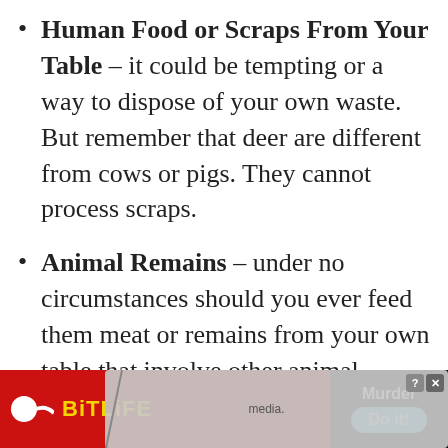Human Food or Scraps From Your Table – it could be tempting or a way to dispose of your own waste. But remember that deer are different from cows or pigs. They cannot process scraps.
Animal Remains – under no circumstances should you ever feed them meat or remains from your own table that involve other animal produce. Always ask yourself what do deer like to eat in the
[Figure (screenshot): Advertisement banner at bottom of page. Left portion shows BitLife game ad with red background and sperm logo. Right portion shows a dark box with 'Murder' text and 'Do it!' blue button. A semi-transparent overlay with close buttons partially covers the ad.]